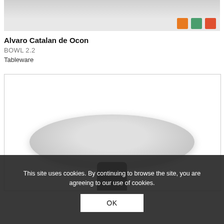[Figure (photo): Partial view of a product image showing colorful tableware items against a grey background — top portion cropped]
Alvaro Catalan de Ocon
BOWL 2.2
Tableware
[Figure (photo): A round marble-top pedestal table with a black base, photographed against a white background. Only the top and upper stem are visible.]
This site uses cookies. By continuing to browse the site, you are agreeing to our use of cookies. OK